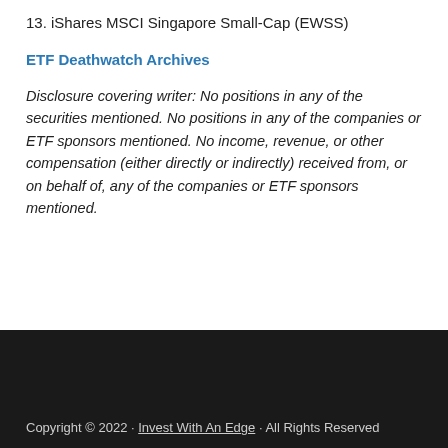13. iShares MSCI Singapore Small-Cap (EWSS)
ETF Deathwatch Archives
Disclosure covering writer: No positions in any of the securities mentioned. No positions in any of the companies or ETF sponsors mentioned. No income, revenue, or other compensation (either directly or indirectly) received from, or on behalf of, any of the companies or ETF sponsors mentioned.
Copyright © 2022 · Invest With An Edge · All Rights Reserved